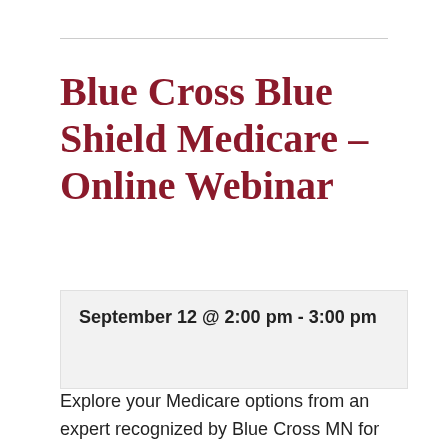Blue Cross Blue Shield Medicare – Online Webinar
September 12 @ 2:00 pm - 3:00 pm
Explore your Medicare options from an expert recognized by Blue Cross MN for outstanding